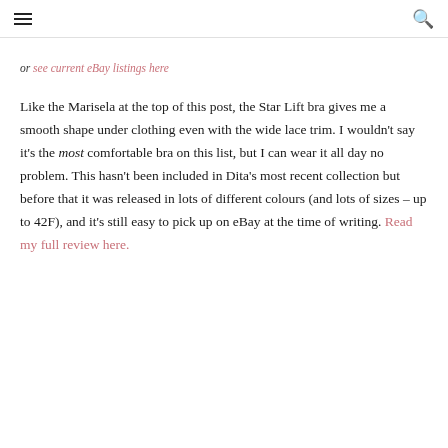≡  🔍
or see current eBay listings here
Like the Marisela at the top of this post, the Star Lift bra gives me a smooth shape under clothing even with the wide lace trim. I wouldn't say it's the most comfortable bra on this list, but I can wear it all day no problem. This hasn't been included in Dita's most recent collection but before that it was released in lots of different colours (and lots of sizes – up to 42F), and it's still easy to pick up on eBay at the time of writing. Read my full review here.